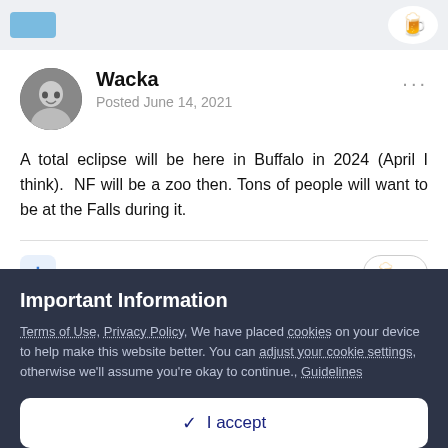Wacka
Posted June 14, 2021
A total eclipse will be here in Buffalo in 2024 (April I think).  NF will be a zoo then. Tons of people will want to be at the Falls during it.
Important Information
Terms of Use, Privacy Policy, We have placed cookies on your device to help make this website better. You can adjust your cookie settings, otherwise we'll assume you're okay to continue., Guidelines
✓  I accept